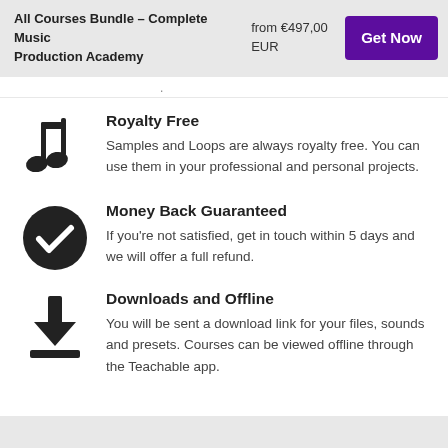All Courses Bundle - Complete Music Production Academy  from €497,00 EUR  Get Now
Royalty Free
Samples and Loops are always royalty free. You can use them in your professional and personal projects.
Money Back Guaranteed
If you're not satisfied, get in touch within 5 days and we will offer a full refund.
Downloads and Offline
You will be sent a download link for your files, sounds and presets. Courses can be viewed offline through the Teachable app.